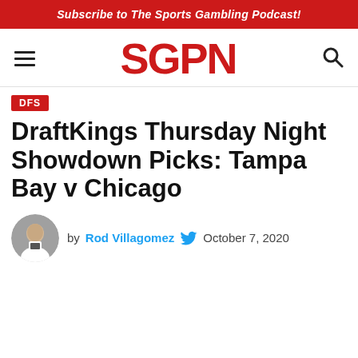Subscribe to The Sports Gambling Podcast!
[Figure (logo): SGPN logo in red bold letters with hamburger menu icon on left and search icon on right]
DraftKings Thursday Night Showdown Picks: Tampa Bay v Chicago
by Rod Villagomez  October 7, 2020